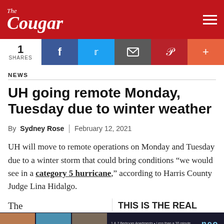The Cougar
1 SHARES
NEWS
UH going remote Monday, Tuesday due to winter weather
By Sydney Rose | February 12, 2021
UH will move to remote operations on Monday and Tuesday due to a winter storm that could bring conditions "we would see in a category 5 hurricane," according to Harris County Judge Lina Hidalgo.
The
THIS IS THE REAL
[Figure (photo): Advertisement banner for Neo apartment complex showing photos of apartments and people]
Katy and Sugar
A historic, long